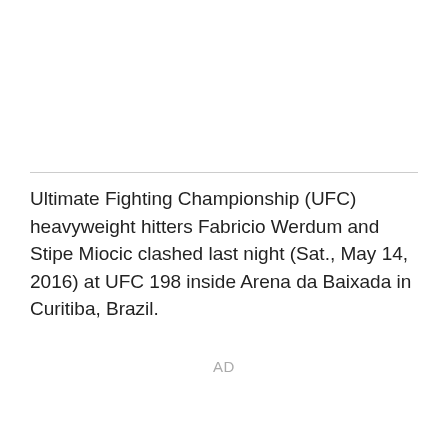Ultimate Fighting Championship (UFC) heavyweight hitters Fabricio Werdum and Stipe Miocic clashed last night (Sat., May 14, 2016) at UFC 198 inside Arena da Baixada in Curitiba, Brazil.
AD